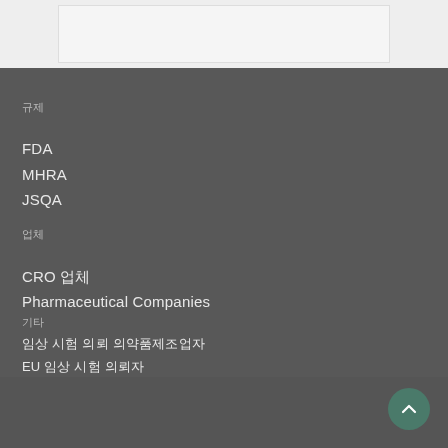[Figure (other): Top white/light gray content area bar]
규제
FDA
MHRA
JSQA
업체
CRO 업체
Pharmaceutical Companies
기타
임상 시험 의뢰 의약품제조업자
EU 임상 시험 의뢰자